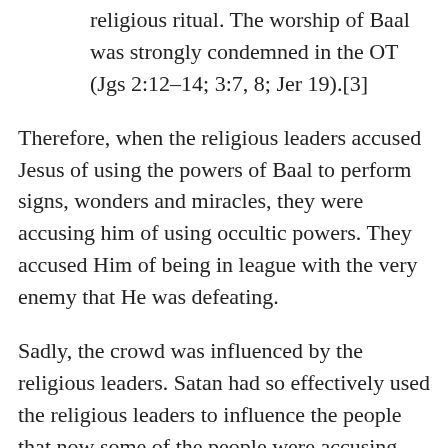religious ritual. The worship of Baal was strongly condemned in the OT (Jgs 2:12–14; 3:7, 8; Jer 19).[3]
Therefore, when the religious leaders accused Jesus of using the powers of Baal to perform signs, wonders and miracles, they were accusing him of using occultic powers. They accused Him of being in league with the very enemy that He was defeating.
Sadly, the crowd was influenced by the religious leaders. Satan had so effectively used the religious leaders to influence the people that now some of the people were accusing Him of using demonic power. Once again, we see the people are so easily manipulated when Satan is the